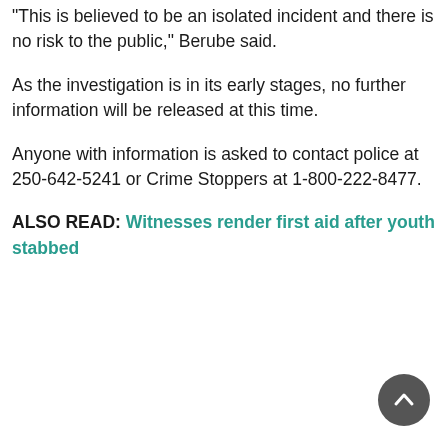“This is believed to be an isolated incident and there is no risk to the public,” Berube said.
As the investigation is in its early stages, no further information will be released at this time.
Anyone with information is asked to contact police at 250-642-5241 or Crime Stoppers at 1-800-222-8477.
ALSO READ: Witnesses render first aid after youth stabbed